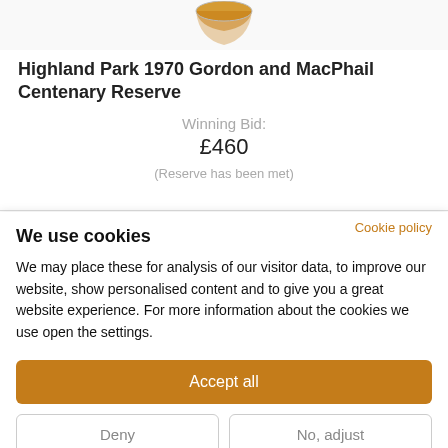[Figure (photo): Partial view of a whisky glass filled with amber liquid, cropped at the top]
Highland Park 1970 Gordon and MacPhail Centenary Reserve
Winning Bid:
£460
(Reserve has been met)
Cookie policy
We use cookies
We may place these for analysis of our visitor data, to improve our website, show personalised content and to give you a great website experience. For more information about the cookies we use open the settings.
Accept all
Deny
No, adjust